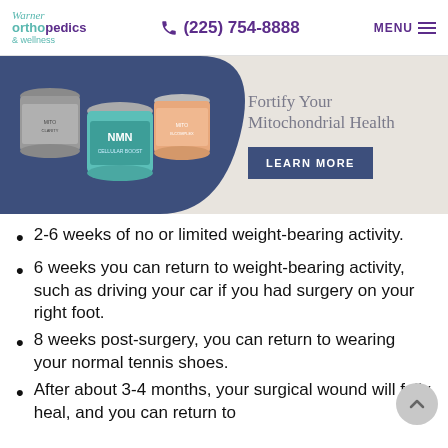Warner Orthopedics & Wellness | (225) 754-8888 | MENU
[Figure (photo): Banner advertisement showing supplement jars (NMN and others) on left, with text 'Fortify Your Mitochondrial Health' and a 'LEARN MORE' button on the right, set against a beige/grey background with a dark blue curved shape.]
2-6 weeks of no or limited weight-bearing activity.
6 weeks you can return to weight-bearing activity, such as driving your car if you had surgery on your right foot.
8 weeks post-surgery, you can return to wearing your normal tennis shoes.
After about 3-4 months, your surgical wound will fully heal, and you can return to